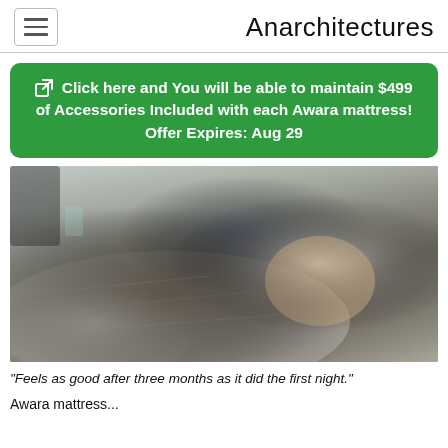Anarchitectures
Click here and You will be able to maintain $499 of Accessories Included with each Awara mattress! Offer Expires: Aug 29
[Figure (photo): A man sleeping peacefully in bed on his side, covered with grey blankets and resting on a white pillow. A nightstand with a lamp and glass is visible in the background.]
"Feels as good after three months as it did the first night."
Awara mattress...